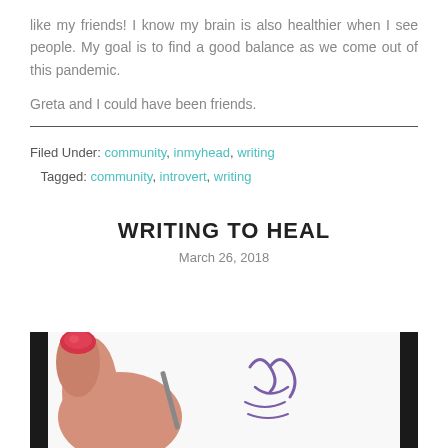like my friends! I know my brain is also healthier when I see people. My goal is to find a good balance as we come out of this pandemic.
Greta and I could have been friends.
Filed Under: community, inmyhead, writing
Tagged: community, introvert, writing
WRITING TO HEAL
March 26, 2018
[Figure (photo): Close-up photo of a hand with red nail polish writing with a pen on white paper, with purple handwritten letter visible]